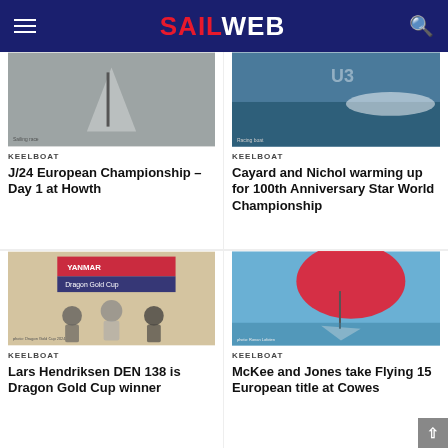SAILWEB
[Figure (photo): Black and white photo of a keelboat sailing race, boat with spinnaker.]
KEELBOAT
J/24 European Championship – Day 1 at Howth
[Figure (photo): Colour photo of a keelboat (U3) racing at speed through water.]
KEELBOAT
Cayard and Nichol warming up for 100th Anniversary Star World Championship
[Figure (photo): Photo of three men celebrating at Dragon Gold Cup, Yanmar banner in background.]
KEELBOAT
Lars Hendriksen DEN 138 is Dragon Gold Cup winner
[Figure (photo): Photo of a Flying 15 dinghy with red spinnaker racing at Cowes.]
KEELBOAT
McKee and Jones take Flying 15 European title at Cowes